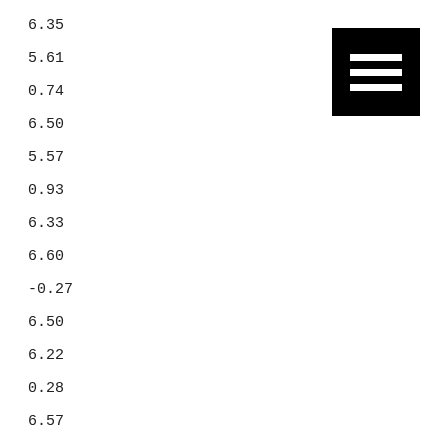6.35
5.61
0.74
6.50
5.57
0.93
6.33
6.60
-0.27
6.50
6.22
0.28
6.57
6.38
0.19
[Figure (other): Black square icon with three horizontal white bars (hamburger/menu icon)]